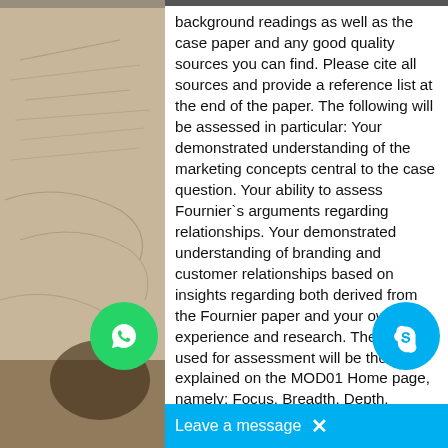background readings as well as the case paper and any good quality sources you can find. Please cite all sources and provide a reference list at the end of the paper. The following will be assessed in particular: Your demonstrated understanding of the marketing concepts central to the case question. Your ability to assess Fournier`s arguments regarding relationships. Your demonstrated understanding of branding and customer relationships based on insights regarding both derived from the Fournier paper and your own experience and research. The criteria used for assessment will be those explained on the MOD01 Home page, namely: Focus. Breadth. Depth. Critical thinking. Effective communication skills. Case-related article: Fournier S. (1998, Mar). Consumers and their brands: Developing relationship theory in consumer research. Journal of Consumer Research. 24, (4). Retrieved from Proquest Jan 19, 2009. The following is a suggestion about how to lay out your paper.
[Figure (other): WhatsApp circular green button with WhatsApp logo icon, overlaid on the page]
[Figure (other): Skype circular blue button with Skype logo icon, overlaid on the page]
[Figure (other): Left side background photo showing handwritten documents or maps, partially visible]
Leave a message  ×